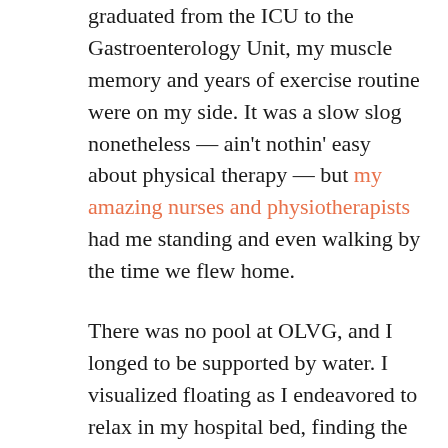graduated from the ICU to the Gastroenterology Unit, my muscle memory and years of exercise routine were on my side. It was a slow slog nonetheless — ain't nothin' easy about physical therapy — but my amazing nurses and physiotherapists had me standing and even walking by the time we flew home.

There was no pool at OLVG, and I longed to be supported by water. I visualized floating as I endeavored to relax in my hospital bed, finding the trigger that is challenging to land on when you've been lying there forever. Water worked.

When we returned home in August, I was using a walker and a cane. My therapy at FYZICAL focussed on my lower half, and I made progress. By the end of August, I began working on my core and arms and legs — and floating for real — in our community pool. As my